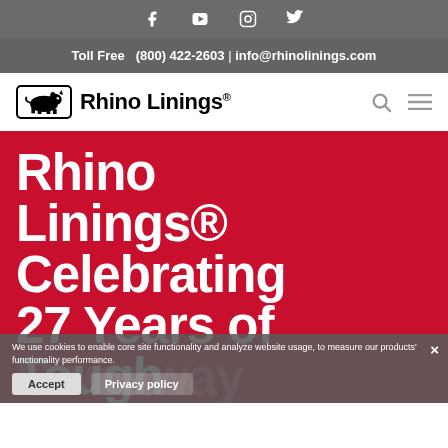Social media icons: Facebook, YouTube, Instagram, Twitter
Toll Free  (800) 422-2603  |  info@rhinolinings.com
[Figure (logo): Rhino Linings logo with rhino icon in bordered box and bold text 'Rhino Linings' with registered trademark]
Rhino Linings® Celebrating 27 Years of Tough Giveaway
We use cookies to enable core site functionality and analyze website usage, to measure our products' functionality performance.
Accept  Privacy policy  ×